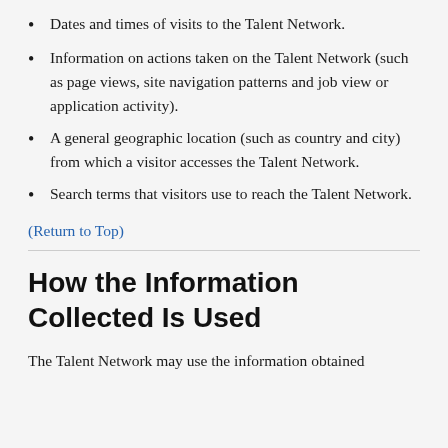Dates and times of visits to the Talent Network.
Information on actions taken on the Talent Network (such as page views, site navigation patterns and job view or application activity).
A general geographic location (such as country and city) from which a visitor accesses the Talent Network.
Search terms that visitors use to reach the Talent Network.
(Return to Top)
How the Information Collected Is Used
The Talent Network may use the information obtained